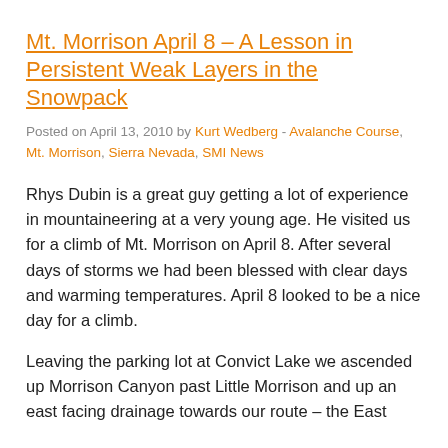Mt. Morrison April 8 – A Lesson in Persistent Weak Layers in the Snowpack
Posted on April 13, 2010 by Kurt Wedberg - Avalanche Course, Mt. Morrison, Sierra Nevada, SMI News
Rhys Dubin is a great guy getting a lot of experience in mountaineering at a very young age. He visited us for a climb of Mt. Morrison on April 8. After several days of storms we had been blessed with clear days and warming temperatures. April 8 looked to be a nice day for a climb.
Leaving the parking lot at Convict Lake we ascended up Morrison Canyon past Little Morrison and up an east facing drainage towards our route – the East